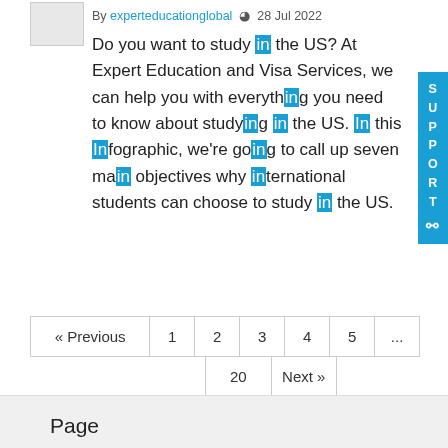By experteducationglobal  28 Jul 2022
Do you want to study in the US? At Expert Education and Visa Services, we can help you with everything you need to know about studying in the US. In this Infographic, we're going to call up seven main objectives why international students can choose to study in the US.
« Previous  1  2  3  4  5  ...  20  Next »